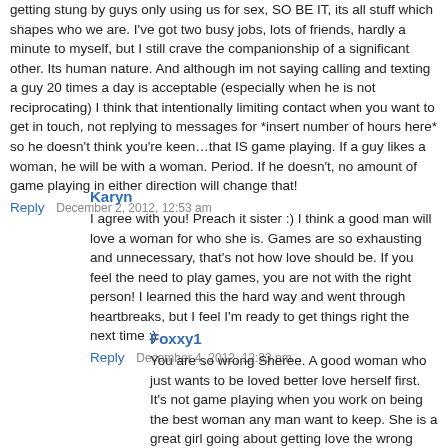getting stung by guys only using us for sex, SO BE IT, its all stuff which shapes who we are. I've got two busy jobs, lots of friends, hardly a minute to myself, but I still crave the companionship of a significant other. Its human nature. And although im not saying calling and texting a guy 20 times a day is acceptable (especially when he is not reciprocating) I think that intentionally limiting contact when you want to get in touch, not replying to messages for *insert number of hours here* so he doesn't think you're keen…that IS game playing. If a guy likes a woman, he will be with a woman. Period. If he doesn't, no amount of game playing in either direction will change that!
Reply   December 2, 2012, 12:53 am
Karyn
I agree with you! Preach it sister :) I think a good man will love a woman for who she is. Games are so exhausting and unnecessary, that's not how love should be. If you feel the need to play games, you are not with the right person! I learned this the hard way and went through heartbreaks, but I feel I'm ready to get things right the next time :)
Reply   December 4, 2012, 12:33 pm
Foxxy1
You are so wrong Sheree. A good woman who just wants to be loved better love herself first. It's not game playing when you work on being the best woman any man want to keep. She is a great girl going about getting love the wrong way and here Sabrina is making some relevant points and you are bashing her.
All she is saying is that she would have had a better chance on love if she just thinks first and take things slow before making these guys the center of her universe.
Who are still saying these things of a woman if they don't...